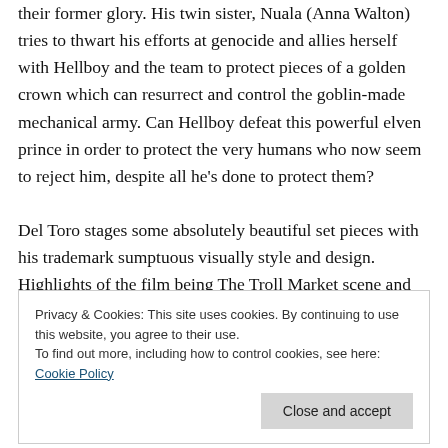their former glory. His twin sister, Nuala (Anna Walton) tries to thwart his efforts at genocide and allies herself with Hellboy and the team to protect pieces of a golden crown which can resurrect and control the goblin-made mechanical army. Can Hellboy defeat this powerful elven prince in order to protect the very humans who now seem to reject him, despite all he's done to protect them?

Del Toro stages some absolutely beautiful set pieces with his trademark sumptuous visually style and design. Highlights of the film being The Troll Market scene and the
Privacy & Cookies: This site uses cookies. By continuing to use this website, you agree to their use.
To find out more, including how to control cookies, see here: Cookie Policy
Close and accept
incredibly designed and rendered and are worth the price